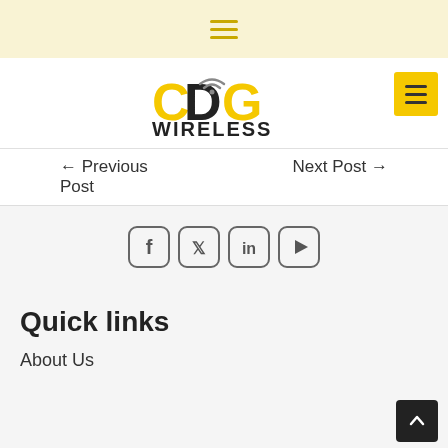CDG Wireless — Keeping Companies Connected
[Figure (logo): CDG Wireless logo with yellow C and G letters, wifi symbol, and tagline 'Keeping Companies Connected']
← Previous Post
Next Post →
[Figure (other): Social media icons: Facebook, Twitter, LinkedIn, YouTube — rounded square icons with dark gray symbols]
Quick links
About Us